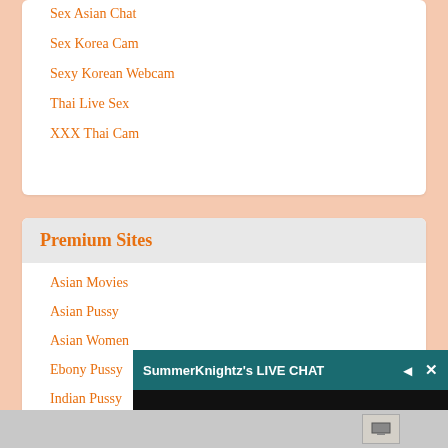Sex Asian Chat
Sex Korea Cam
Sexy Korean Webcam
Thai Live Sex
XXX Thai Cam
Premium Sites
Asian Movies
Asian Pussy
Asian Women
Ebony Pussy
Indian Pussy
SummerKnightz's LIVE CHAT